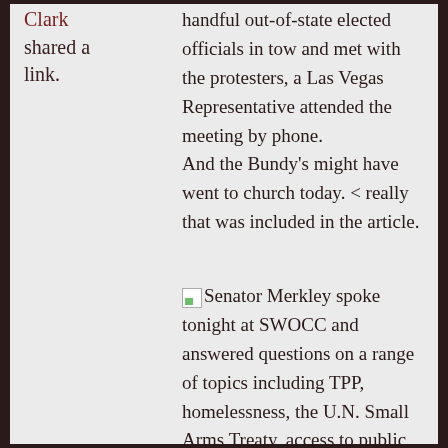Clark shared a link.
handful out-of-state elected officials in tow and met with the protesters, a Las Vegas Representative attended the meeting by phone.
And the Bundy's might have went to church today. < really that was included in the article.
Senator Merkley spoke tonight at SWOCC and answered questions on a range of topics including TPP, homelessness, the U.N. Small Arms Treaty, access to public lands, college...